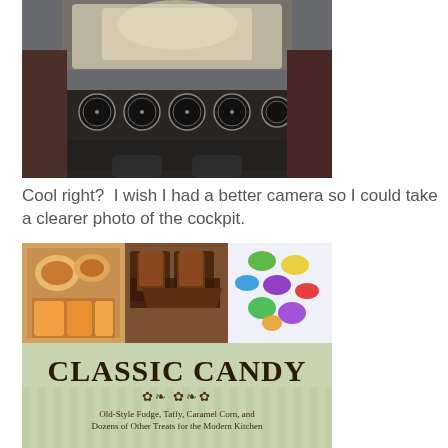[Figure (photo): Photograph of an airplane cockpit interior showing instrument panel with various gauges and dials, taken from the pilot seat looking forward through the windshield.]
Cool right?  I wish I had a better camera so I could take a clearer photo of the cockpit.
[Figure (photo): Book cover for 'Classic Candy' featuring a collage of three food photos at the top (fruit tarts, chocolate candies, and colorful sugar candies) on a light green striped background, with the title 'CLASSIC CANDY' in large bold serif font, decorative script below, and subtitle 'Old-Style Fudge, Taffy, Caramel Corn, and Dozens of Other Treats for the Modern Kitchen'.]